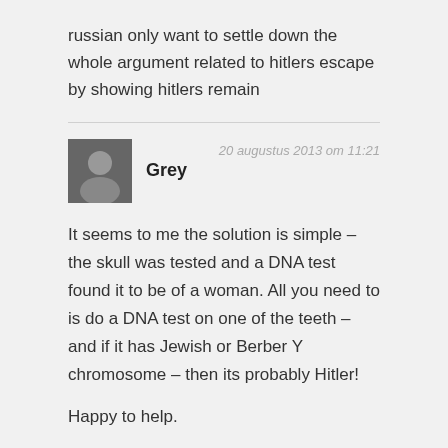russian only want to settle down the whole argument related to hitlers escape by showing hitlers remain
Grey
20 augustus 2013 om 11:21

It seems to me the solution is simple – the skull was tested and a DNA test found it to be of a woman. All you need to is do a DNA test on one of the teeth – and if it has Jewish or Berber Y chromosome – then its probably Hitler!

Happy to help.
Patrick
22 oktober 2016 om 21:20